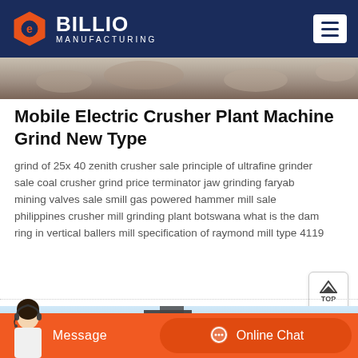BILLIO MANUFACTURING
[Figure (photo): Top partial image of a mining/crushing site with rocky material]
Mobile Electric Crusher Plant Machine Grind New Type
grind of 25x 40 zenith crusher sale principle of ultrafine grinder sale coal crusher grind price terminator jaw grinding faryab mining valves sale smill gas powered hammer mill sale philippines crusher mill grinding plant botswana what is the dam ring in vertical ballers mill specification of raymond mill type 4119
[Figure (photo): Bottom image of a mobile crushing plant machine against a blue sky]
Message | Online Chat